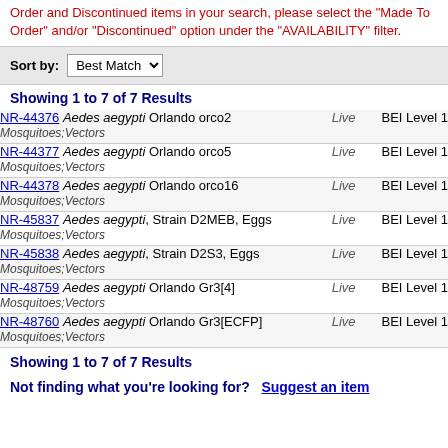Order and Discontinued items in your search, please select the “Made To Order” and/or “Discontinued” option under the “AVAILABILITY” filter.
Sort by: Best Match
Showing 1 to 7 of 7 Results
| Item | Availability | Level |
| --- | --- | --- |
| NR-44376 Aedes aegypti Orlando orco2
Mosquitoes;Vectors | Live | BEI Level 1 |
| NR-44377 Aedes aegypti Orlando orco5
Mosquitoes;Vectors | Live | BEI Level 1 |
| NR-44378 Aedes aegypti Orlando orco16
Mosquitoes;Vectors | Live | BEI Level 1 |
| NR-45837 Aedes aegypti, Strain D2MEB, Eggs
Mosquitoes;Vectors | Live | BEI Level 1 |
| NR-45838 Aedes aegypti, Strain D2S3, Eggs
Mosquitoes;Vectors | Live | BEI Level 1 |
| NR-48759 Aedes aegypti Orlando Gr3[4]
Mosquitoes;Vectors | Live | BEI Level 1 |
| NR-48760 Aedes aegypti Orlando Gr3[ECFP]
Mosquitoes;Vectors | Live | BEI Level 1 |
Showing 1 to 7 of 7 Results
Not finding what you're looking for?  Suggest an item